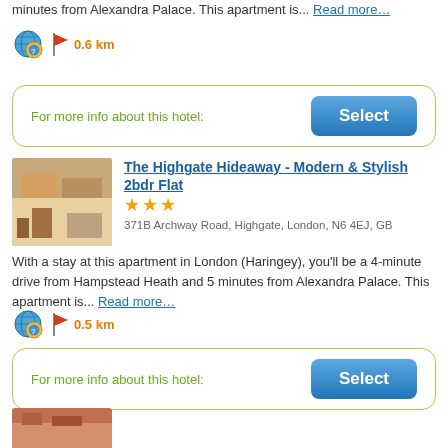minutes from Alexandra Palace. This apartment is... Read more…
[Figure (infographic): Globe search icon and red flag icon with distance 0.6 km]
For more info about this hotel:
[Figure (other): Blue 'Select' button]
[Figure (photo): Interior photo of The Highgate Hideaway apartment]
The Highgate Hideaway - Modern & Stylish 2bdr Flat
[Figure (infographic): Three gold stars rating]
371B Archway Road, Highgate, London, N6 4EJ, GB
With a stay at this apartment in London (Haringey), you'll be a 4-minute drive from Hampstead Heath and 5 minutes from Alexandra Palace. This apartment is... Read more…
[Figure (infographic): Globe search icon and red flag icon with distance 0.5 km]
For more info about this hotel:
[Figure (other): Blue 'Select' button]
[Figure (photo): Partial interior photo at bottom of page]